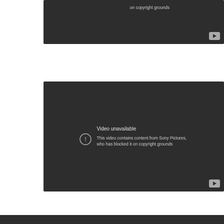[Figure (screenshot): YouTube video unavailable error screen (top, partially visible): text reads 'on copyright grounds' with YouTube play button in lower right corner. Dark background.]
[Figure (screenshot): YouTube video unavailable error screen: 'Video unavailable — This video contains content from Sony Pictures, who has blocked it on copyright grounds'. Circle with exclamation icon on left, YouTube play button in lower right corner. Dark background.]